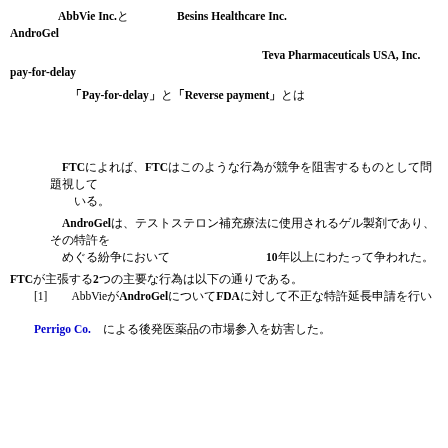AbbVie Inc.とBesins Healthcare Inc.がAndroGelについて行った行為が独占禁止法に違反するとして和解を行った。
本件は、AbbVie Inc.がTeva Pharmaceuticals USA, Inc.に対してpay-for-delayを行ったとされる事件である。
「Pay-for-delay」と「Reverse payment」とは、先発医薬品メーカーが後発医薬品メーカーに対して特許訴訟を取り下げる見返りとして金銭等を支払い、後発医薬品の市場参入を遅らせる合意をいう。
FTCによれば、FTCはこのような行為が競争を阻害するものとして問題視している。
AndroGelは、テストステロン補充療法に使用されるゲル製剤であり、その特許をめぐる紛争において10年以上にわたって争われた。
FTCが主張する2つの主要な行為は以下の通りである。[1] AbbVieがAndroGelについてFDAに対して不正な特許延長申請を行い、Perrigo Co.による後発医薬品の市場参入を妨害した。